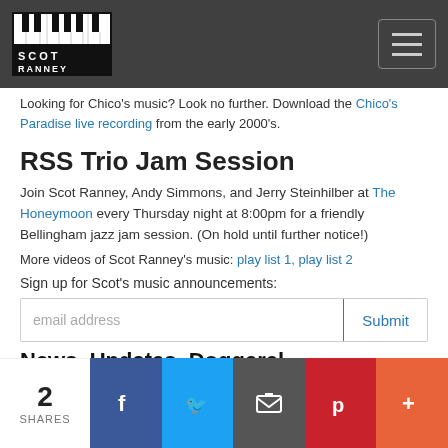Scot Ranney logo and navigation
Looking for Chico's music? Look no further. Download the Chico's Paradise live recording from the early 2000's.
RSS Trio Jam Session
Join Scot Ranney, Andy Simmons, and Jerry Steinhilber at The Honeymoon every Thursday night at 8:00pm for a friendly Bellingham jazz jam session. (On hold until further notice!)
More videos of Scot Ranney's music: play list 1, play list 2
Sign up for Scot's music announcements:
email address [Submit]
News, Updates, Doggerel
2 SHARES | Facebook | Twitter | Email | Pinterest | More